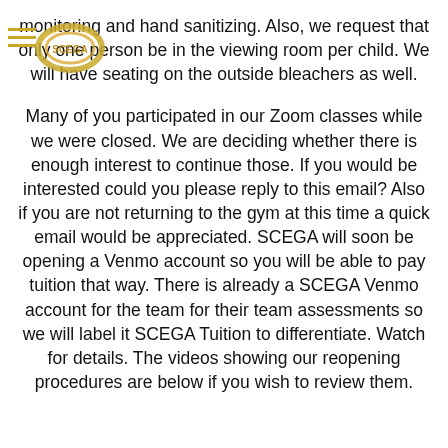monitoring and hand sanitizing. Also, we request that only one person be in the viewing room per child. We will have seating on the outside bleachers as well.
Many of you participated in our Zoom classes while we were closed. We are deciding whether there is enough interest to continue those. If you would be interested could you please reply to this email? Also if you are not returning to the gym at this time a quick email would be appreciated. SCEGA will soon be opening a Venmo account so you will be able to pay tuition that way. There is already a SCEGA Venmo account for the team for their team assessments so we will label it SCEGA Tuition to differentiate. Watch for details. The videos showing our reopening procedures are below if you wish to review them.